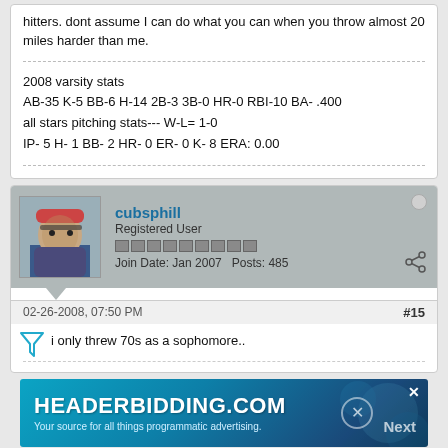hitters. dont assume I can do what you can when you throw almost 20 miles harder than me.
2008 varsity stats
AB-35 K-5 BB-6 H-14 2B-3 3B-0 HR-0 RBI-10 BA- .400
all stars pitching stats--- W-L= 1-0
IP- 5 H- 1 BB- 2 HR- 0 ER- 0 K- 8 ERA: 0.00
cubsphill
Registered User
Join Date: Jan 2007   Posts: 485
02-26-2008, 07:50 PM   #15
i only threw 70s as a sophomore..
[Figure (screenshot): HEADERBIDDING.COM advertisement banner - Your source for all things programmatic advertising.]